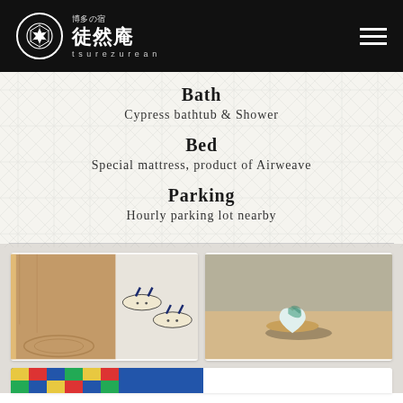博多の宿 徒然庵 tsurezure an
Bath
Cypress bathtub & Shower
Bed
Special mattress, product of Airweave
Parking
Hourly parking lot nearby
[Figure (photo): Left photo: wooden beam closeup and Japanese sandals (zori). Right photo: heart-shaped ceramic dish on wooden surface.]
[Figure (photo): Bottom partial photo strip: colorful tiles or fabric.]